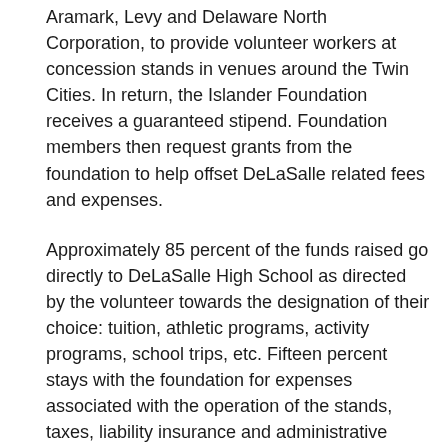Aramark, Levy and Delaware North Corporation, to provide volunteer workers at concession stands in venues around the Twin Cities. In return, the Islander Foundation receives a guaranteed stipend. Foundation members then request grants from the foundation to help offset DeLaSalle related fees and expenses.
Approximately 85 percent of the funds raised go directly to DeLaSalle High School as directed by the volunteer towards the designation of their choice: tuition, athletic programs, activity programs, school trips, etc. Fifteen percent stays with the foundation for expenses associated with the operation of the stands, taxes, liability insurance and administrative expenses.
The funds raised will vary from one event to the other, from one venue to the other, from one stand to the other, even within the same venue and ultimately on what role you perform in the